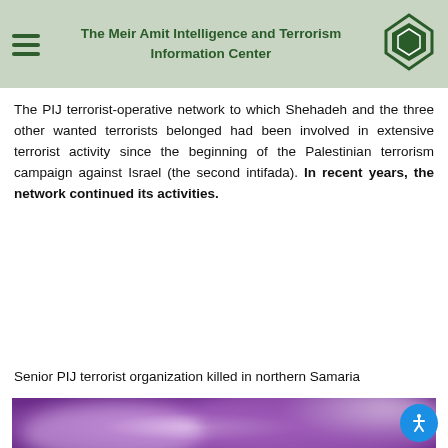The Meir Amit Intelligence and Terrorism Information Center
The PIJ terrorist-operative network to which Shehadeh and the three other wanted terrorists belonged had been involved in extensive terrorist activity since the beginning of the Palestinian terrorism campaign against Israel (the second intifada). In recent years, the network continued its activities.
Senior PIJ terrorist organization killed in northern Samaria
[Figure (photo): A blurred purple-toned photograph, likely showing a scene related to the PIJ terrorist organization in northern Samaria. The image is heavily blurred with purple and white tones.]